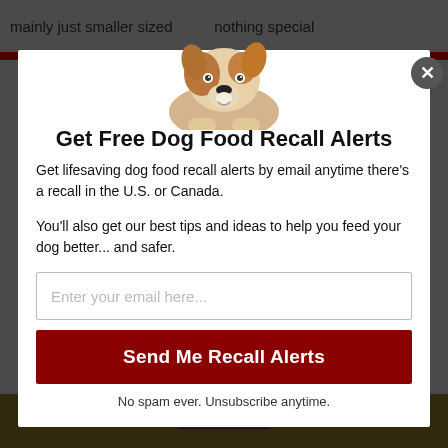mainly just smaller sized... nothing special
[Figure (photo): A Jack Russell terrier puppy peeking over the top edge of the modal dialog box]
Get Free Dog Food Recall Alerts
Get lifesaving dog food recall alerts by email anytime there's a recall in the U.S. or Canada.
You'll also get our best tips and ideas to help you feed your dog better... and safer.
Enter your email here...
Send Me Recall Alerts
No spam ever. Unsubscribe anytime.
Recall Alerts